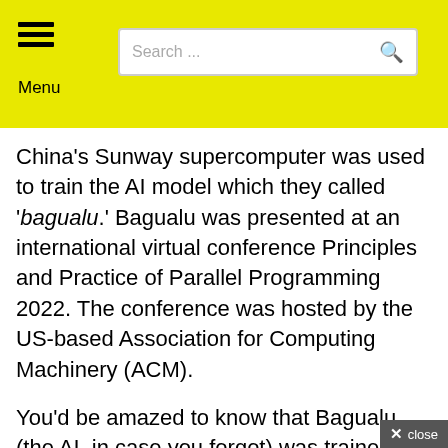Menu | Search ...
China's Sunway supercomputer was used to train the AI model which they called 'bagualu.' Bagualu was presented at an international virtual conference Principles and Practice of Parallel Programming 2022. The conference was hosted by the US-based Association for Computing Machinery (ACM).
You'd be amazed to know that Bagualu (the AI, in case you forgot) was trained with 174 trillion parameters, almost equal to the synapses in a brain, SCMP claimed. It is a remarkable achievement given that there are approximately 1,000 trillion synapses in a brain. Sunway has done some work there. If talk